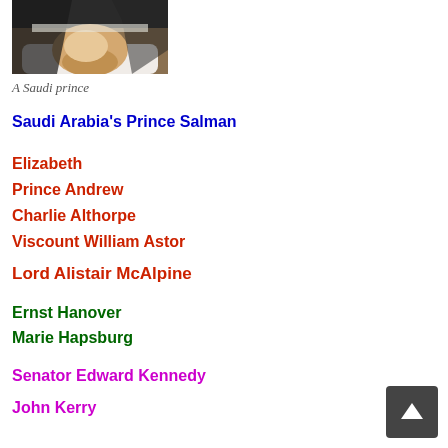[Figure (photo): Photo of a Saudi prince wearing white robes and dark headscarf]
A Saudi prince
Saudi Arabia's Prince Salman
Elizabeth
Prince Andrew
Charlie Althorpe
Viscount William Astor
Lord Alistair McAlpine
Ernst Hanover
Marie Hapsburg
Senator Edward Kennedy
John Kerry